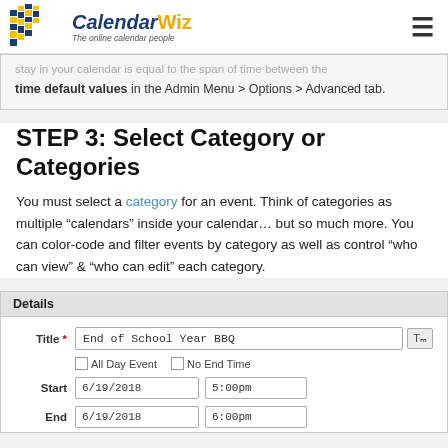CalendarWiz — The online calendar people
stay in your calendar is equal to the span of time between the time default values in the Admin Menu > Options > Advanced tab.
STEP 3: Select Category or Categories
You must select a category for an event. Think of categories as multiple "calendars" inside your calendar… but so much more. You can color-code and filter events by category as well as control "who can view" & "who can edit" each category.
[Figure (screenshot): CalendarWiz event form UI showing Details section with Title field ('End of School Year BBQ'), All Day Event and No End Time checkboxes, Start date (6/19/2018) and time (5:00pm), and End date (6/19/2018) and time (6:00pm)]